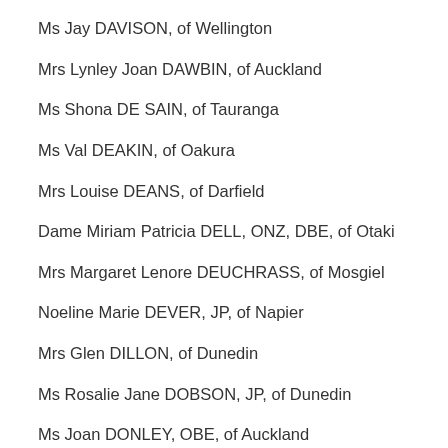Ms Jay DAVISON, of Wellington
Mrs Lynley Joan DAWBIN, of Auckland
Ms Shona DE SAIN, of Tauranga
Ms Val DEAKIN, of Oakura
Mrs Louise DEANS, of Darfield
Dame Miriam Patricia DELL, ONZ, DBE, of Otaki
Mrs Margaret Lenore DEUCHRASS, of Mosgiel
Noeline Marie DEVER, JP, of Napier
Mrs Glen DILLON, of Dunedin
Ms Rosalie Jane DOBSON, JP, of Dunedin
Ms Joan DONLEY, OBE, of Auckland
Kathleen DONNELLY, of Tho…